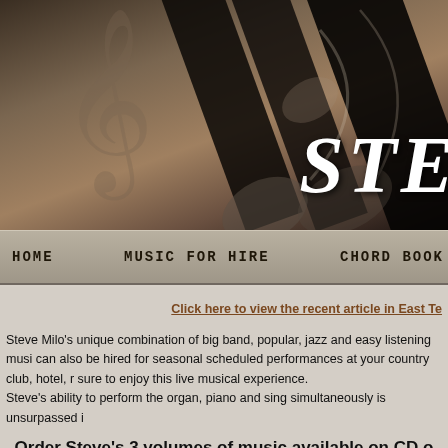[Figure (illustration): Website header banner with piano keys, treble clef, musical notes, and partial site title 'STE' visible in white italic text on a dark brown/tan background]
HOME   MUSIC FOR HIRE   CHORD BOOK
Click here to view the recent article in East Te
Steve Milo's unique combination of big band, popular, jazz and easy listening musi can also be hired for seasonal scheduled performances at your country club, hotel, r sure to enjoy this live musical experience.
Steve's ability to perform the organ, piano and sing simultaneously is unsurpassed i
Order Steve's 3 volumes of music available on CD o